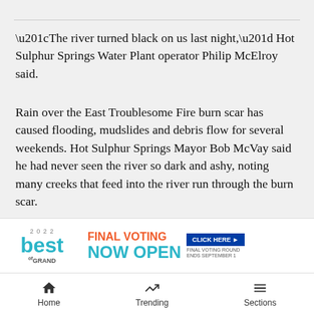“The river turned black on us last night,” Hot Sulphur Springs Water Plant operator Philip McElroy said.
Rain over the East Troublesome Fire burn scar has caused flooding, mudslides and debris flow for several weekends. Hot Sulphur Springs Mayor Bob McVay said he had never seen the river so dark and ashy, noting many creeks that feed into the river run through the burn scar.
“The heavy rains yesterday must have gone right over the burn scar and muddied up the creeks, bringing the bad water down the river,” McVay said. “You can’t make w[...]
Luckily[...] he
[Figure (screenshot): 2022 Best of Grand advertisement banner with orange 'FINAL VOTING' text, teal 'NOW OPEN' text, and a blue 'CLICK HERE' button. Final voting round ends September 1.]
Home   Trending   Sections